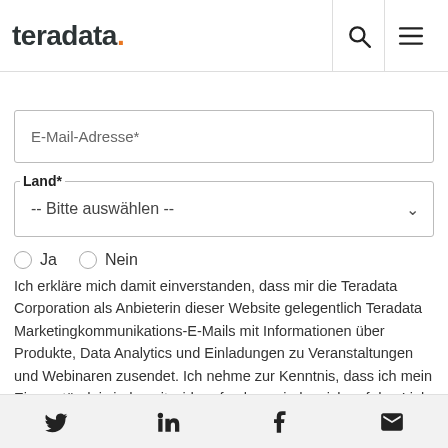teradata.
E-Mail-Adresse*
Land*
-- Bitte auswählen --
Ja   Nein
Ich erkläre mich damit einverstanden, dass mir die Teradata Corporation als Anbieterin dieser Website gelegentlich Teradata Marketingkommunikations-E-Mails mit Informationen über Produkte, Data Analytics und Einladungen zu Veranstaltungen und Webinaren zusendet. Ich nehme zur Kenntnis, dass ich mein Einverständnis jederzeit widerrufen kann, indem ich auf den Link zum Abbestellen klicke, der sich am Ende jeder von mir erhaltenen E-Mail befindet.
Twitter LinkedIn Facebook Email